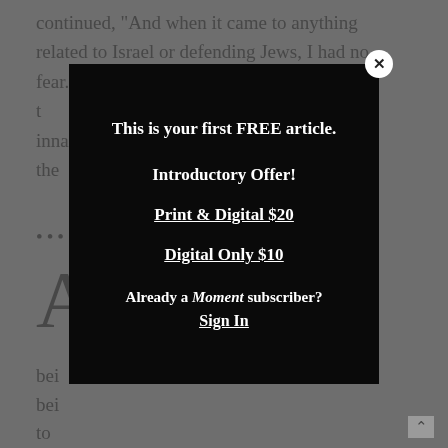continued, "And when it came to anything related to Israel or defending Jews, I had no fear." It was this inna... in the...
...
A... I's ws being ne to B... Awa is seco a gifte journals, and magazines. His topic of choice was ongoing failure of international justice departments
[Figure (screenshot): Modal dialog overlay on a news article page with subscription prompt. Contains close button (x), text 'This is your first FREE article.', 'Introductory Offer!', links 'Print & Digital $20', 'Digital Only $10', 'Already a Moment subscriber? Sign In']